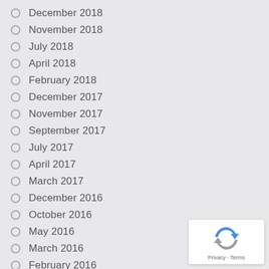December 2018
November 2018
July 2018
April 2018
February 2018
December 2017
November 2017
September 2017
July 2017
April 2017
March 2017
December 2016
October 2016
May 2016
March 2016
February 2016 (partial)